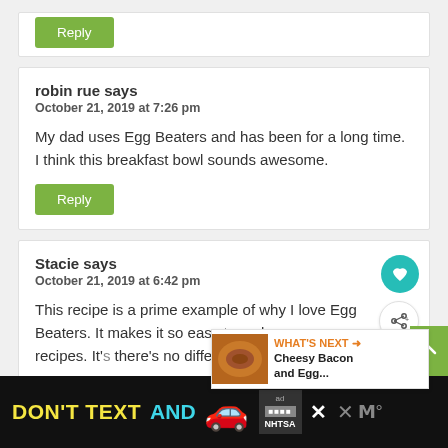Reply (partial, top of page)
robin rue says
October 21, 2019 at 7:26 pm

My dad uses Egg Beaters and has been for a long time. I think this breakfast bowl sounds awesome.
Reply
Stacie says
October 21, 2019 at 6:42 pm

This recipe is a prime example of why I love Egg Beaters. It makes it so easy to make awesome recipes. It's... there's no difference in taste, either.
[Figure (other): WHAT'S NEXT arrow with thumbnail image and text: Cheesy Bacon and Egg...]
[Figure (other): Advertisement banner: DON'T TEXT AND [car emoji] with NHTSA logo and close buttons]